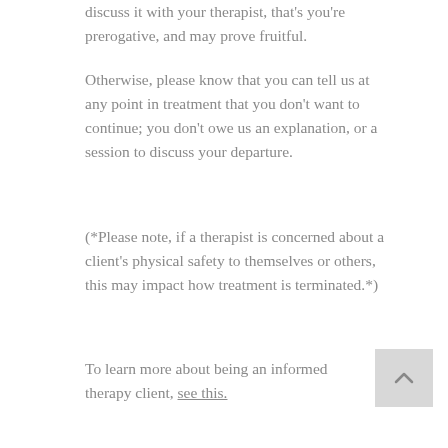discuss it with your therapist, that's you're prerogative, and may prove fruitful.
Otherwise, please know that you can tell us at any point in treatment that you don't want to continue; you don't owe us an explanation, or a session to discuss your departure.
(*Please note, if a therapist is concerned about a client's physical safety to themselves or others, this may impact how treatment is terminated.*)
To learn more about being an informed therapy client, see this.